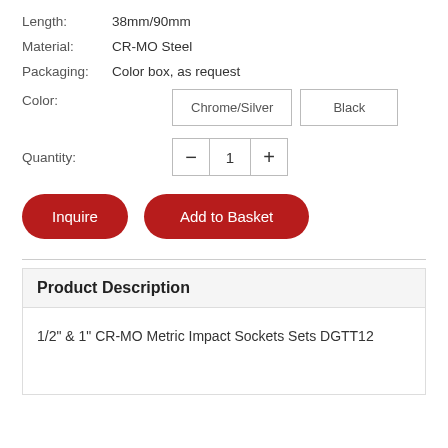Length: 38mm/90mm
Material: CR-MO Steel
Packaging: Color box, as request
Color: Chrome/Silver  Black
Quantity: 1
Inquire   Add to Basket
Product Description
1/2" & 1" CR-MO Metric Impact Sockets Sets DGTT12